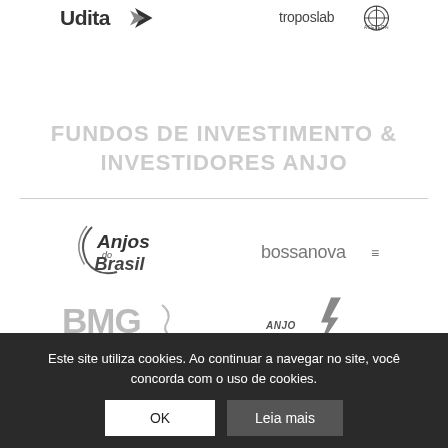[Figure (logo): Udita logo (dark bird/arrow logo) at top left]
[Figure (logo): troposlab aceleradora logo at top right]
FUNDOS DE INVESTIMENTO & INVESTIDORES ANJO
[Figure (logo): Anjos do Brasil logo]
[Figure (logo): bossanova logo]
[Figure (logo): BMG logo (partially visible)]
[Figure (logo): Investidores Anjo logo with lightning bolt (partially visible)]
[Figure (logo): GVANGELS logo (partially visible at bottom)]
[Figure (logo): GS Angels logo (partially visible at bottom)]
Este site utiliza cookies. Ao continuar a navegar no site, você concorda com o uso de cookies.
OK
Leia mais